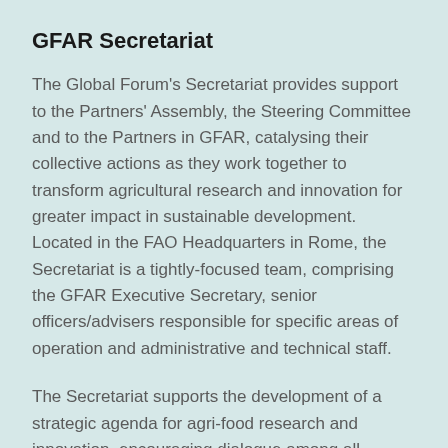GFAR Secretariat
The Global Forum's Secretariat provides support to the Partners' Assembly, the Steering Committee and to the Partners in GFAR, catalysing their collective actions as they work together to transform agricultural research and innovation for greater impact in sustainable development. Located in the FAO Headquarters in Rome, the Secretariat is a tightly-focused team, comprising the GFAR Executive Secretary, senior officers/advisers responsible for specific areas of operation and administrative and technical staff.
The Secretariat supports the development of a strategic agenda for agri-food research and innovation, encouraging dialogue among all relevant stakeholders on topics of common interest. It stimulates the development of action networks and